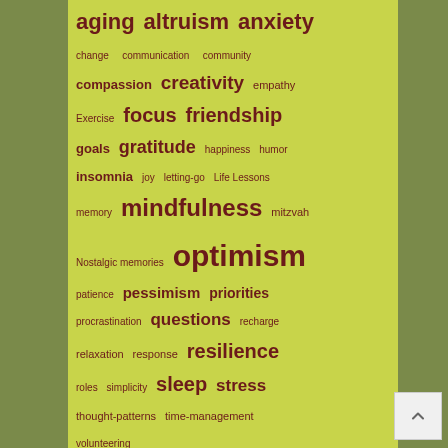[Figure (infographic): A tag cloud / word cloud on a light yellow-green background showing psychology and wellness topics. Words vary in size by frequency/importance. Terms include: aging, altruism, anxiety, change, communication, community, compassion, creativity, empathy, Exercise, focus, friendship, goals, gratitude, happiness, humor, insomnia, joy, letting-go, Life Lessons, memory, mindfulness, mitzvah, Nostalgic memories, optimism, patience, pessimism, priorities, procrastination, questions, recharge, relaxation, response, resilience, roles, simplicity, sleep, stress, thought-patterns, time-management, volunteering]